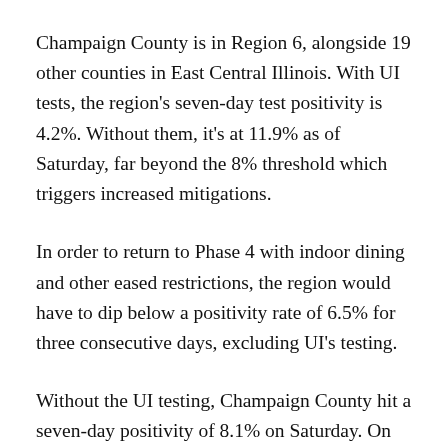Champaign County is in Region 6, alongside 19 other counties in East Central Illinois. With UI tests, the region's seven-day test positivity is 4.2%. Without them, it's at 11.9% as of Saturday, far beyond the 8% threshold which triggers increased mitigations.
In order to return to Phase 4 with indoor dining and other eased restrictions, the region would have to dip below a positivity rate of 6.5% for three consecutive days, excluding UI's testing.
Without the UI testing, Champaign County hit a seven-day positivity of 8.1% on Saturday. On Oct. 25, just two weeks ago, seven-day positivity stood at 4.7%. Back when Region 6 was ordered to return